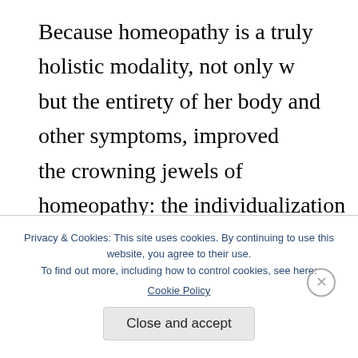Because homeopathy is a truly holistic modality, not only w but the entirety of her body and other symptoms, improved the crowning jewels of homeopathy: the individualization o
We homeopaths view health as a condition of the whole ind study of isolated symptoms from specific parts of the body. diagnose disease or treat diseases. Rather, homeopathic rem
Privacy & Cookies: This site uses cookies. By continuing to use this website, you agree to their use.
To find out more, including how to control cookies, see here: Cookie Policy